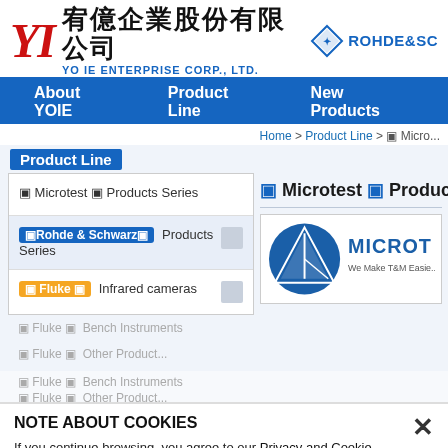[Figure (logo): YI logo with Chinese and English company name 'YO IE ENTERPRISE CORP., LTD.' and Rohde & Schwarz diamond logo]
About YOIE   Product Line   New Products
Home > Product Line > ▣ Micro...
Product Line
▣ Microtest ▣ Products Series (heading on right)
▣ Microtest ▣ Products Series
▣Rohde & Schwarz▣ Products Series
▣ Fluke ▣  Infrared cameras
[Figure (logo): Microtest logo - blue triangle/sail logo with text MICROTEST We Make T&M Easie...]
NOTE ABOUT COOKIES
If you continue browsing, you agree to our Privacy and Cookie Policy. Close